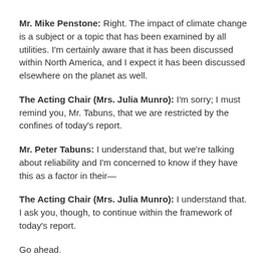Mr. Mike Penstone: Right. The impact of climate change is a subject or a topic that has been examined by all utilities. I'm certainly aware that it has been discussed within North America, and I expect it has been discussed elsewhere on the planet as well.
The Acting Chair (Mrs. Julia Munro): I'm sorry; I must remind you, Mr. Tabuns, that we are restricted by the confines of today's report.
Mr. Peter Tabuns: I understand that, but we're talking about reliability and I'm concerned to know if they have this as a factor in their—
The Acting Chair (Mrs. Julia Munro): I understand that. I ask you, though, to continue within the framework of today's report.
Go ahead.